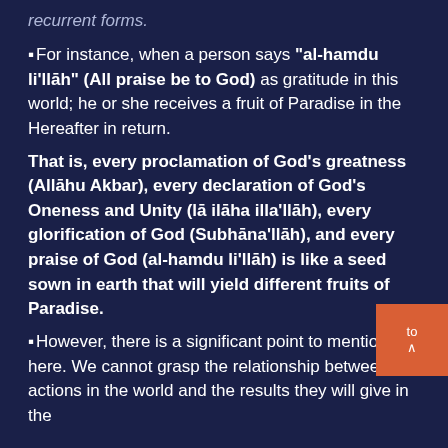recurrent forms.
For instance, when a person says "al-hamdu li'llāh" (All praise be to God) as gratitude in this world; he or she receives a fruit of Paradise in the Hereafter in return.
That is, every proclamation of God's greatness (Allāhu Akbar), every declaration of God's Oneness and Unity (lā ilāha illa'llāh), every glorification of God (Subhāna'llāh), and every praise of God (al-hamdu li'llāh) is like a seed sown in earth that will yield different fruits of Paradise.
However, there is a significant point to mention here. We cannot grasp the relationship between our actions in the world and the results they will give in the